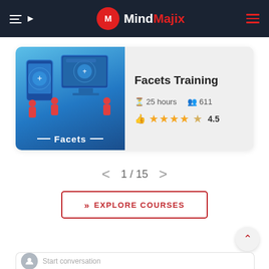MindMajix
[Figure (screenshot): Course card for Facets Training showing a blue illustrated banner with shield/device graphics labeled 'Facets', course title 'Facets Training', duration 25 hours, 611 students, rating 4.5 stars]
1 / 15
EXPLORE COURSES
Start conversation